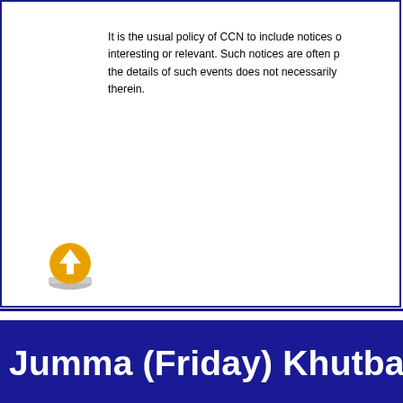It is the usual policy of CCN to include notices of events that members may find interesting or relevant. Such notices are often p... the details of such events does not necessarily... therein.
Jumma (Friday) Khutbas (Le...
[Figure (logo): Islamic Council of Queensland (ICQ) logo with mosque dome icon]
For any updates, please email secretary@icq.org.au
| # | SUBURB / TOWN | ORGANISATION |
| --- | --- | --- |
| 1 | Algester | ISOA: Islamic Society of Algester |
| 2 | Bald Hills | Masjid Taqwa |